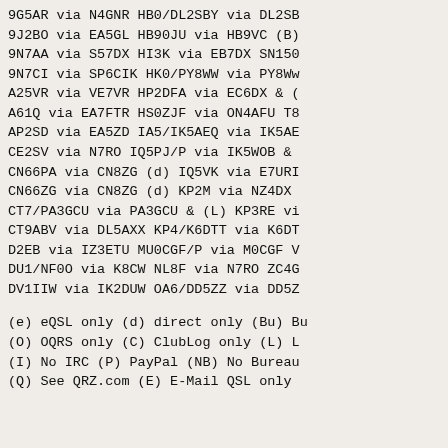9G5AR via N4GNR  HB0/DL2SBY via DL2SB
9J2BO via EA5GL  HB90JU via HB9VC (B)
9N7AA via S57DX  HI3K via EB7DX SN150
9N7CI via SP6CIK  HK0/PY8WW via PY8Ww
A25VR via VE7VR  HP2DFA via EC6DX & (
A61Q via EA7FTR  HS0ZJF via ON4AFU T8
AP2SD via EA5ZD  IA5/IK5AEQ via IK5AE
CE2SV via N7RO  IQ5PJ/P via IK5WOB &
CN66PA via CN8ZG (d)  IQ5VK via E7URI
CN66ZG via CN8ZG (d)  KP2M via NZ4DX
CT7/PA3GCU via PA3GCU & (L)  KP3RE vi
CT9ABV via DL5AXX  KP4/K6DTT via K6DT
D2EB via IZ3ETU  MU0CGF/P via M0CGF V
DU1/NF0O via K8CW  NL8F via N7RO ZC4G
DV1IIW via IK2DUW  OA6/DD5ZZ via DD5Z
(e) eQSL only (d) direct only (B) Bu
(O) OQRS only (C) ClubLog only (L) L
(I) No IRC (P) PayPal (NB) No Bureau
(Q) See QRZ.com (E) E-Mail QSL only